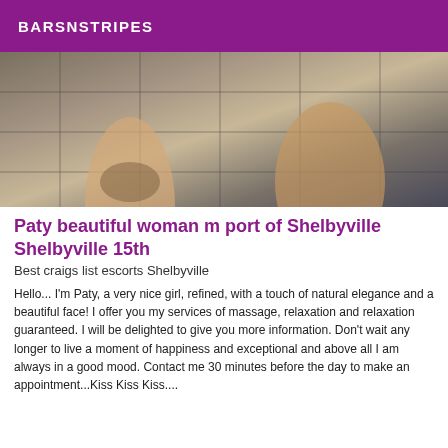BARSNSTRIPES
[Figure (photo): Photo showing legs/feet on a tiled floor bathroom setting]
Paty beautiful woman m port of Shelbyville Shelbyville 15th
Best craigs list escorts Shelbyville
Hello... I'm Paty, a very nice girl, refined, with a touch of natural elegance and a beautiful face! I offer you my services of massage, relaxation and relaxation guaranteed. I will be delighted to give you more information. Don't wait any longer to live a moment of happiness and exceptional and above all I am always in a good mood. Contact me 30 minutes before the day to make an appointment...Kiss Kiss Kiss....